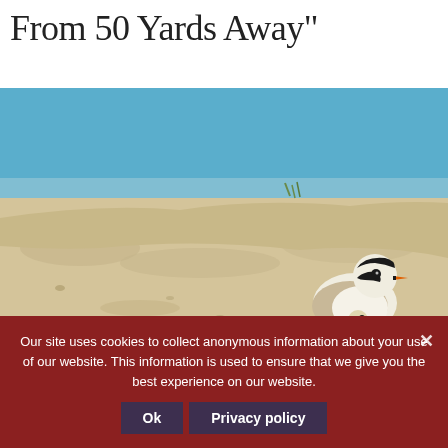From 50 Yards Away"
[Figure (photo): A Piping Plover adult bird on a sandy beach with a small chick nestled beneath it. Blue sky and sandy dunes in the background.]
The federally threatened Piping Plover nests on bea... to Maine, and can be impacted by beach-goer act...
Our site uses cookies to collect anonymous information about your use of our website. This information is used to ensure that we give you the best experience on our website.